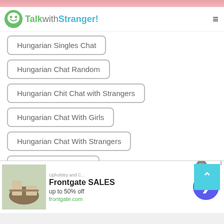[Figure (screenshot): Top pink/salmon banner strip]
TalkwithStranger!
Hungarian Singles Chat
Hungarian Chat Random
Hungarian Chit Chat with Strangers
Hungarian Chat With Girls
Hungarian Chat With Strangers
Hungarian Local Chat
Hungarian Group Chat
Hungarian Lonely Chat
[Figure (infographic): Advertisement banner: Frontgate SALES up to 50% off, frontgate.com, with outdoor furniture photo and blue arrow button]